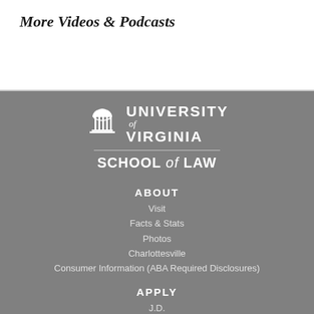More Videos & Podcasts
[Figure (logo): University of Virginia School of Law logo with building icon, UVA wordmark, and School of Law text]
ABOUT
Visit
Facts & Stats
Photos
Charlottesville
Consumer Information (ABA Required Disclosures)
APPLY
J.D.